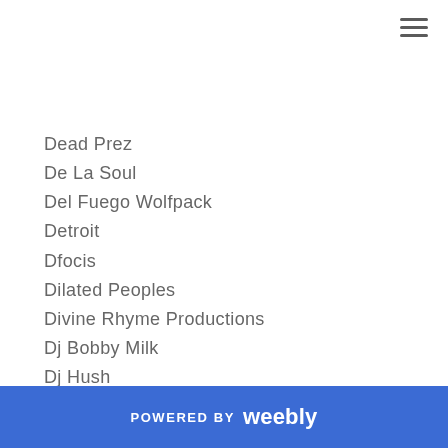Dead Prez
De La Soul
Del Fuego Wolfpack
Detroit
Dfocis
Dilated Peoples
Divine Rhyme Productions
Dj Bobby Milk
Dj Hush
Dj Jon Gotem
Dj Kortez
Dj Manipulator
Dj Premier
POWERED BY weebly